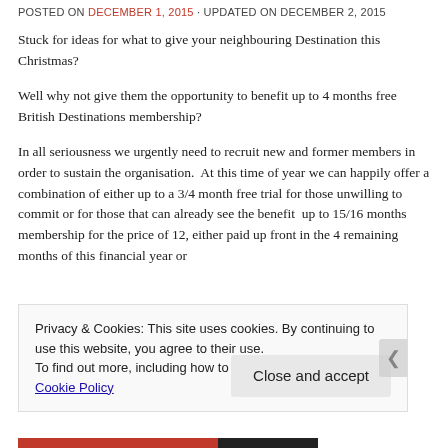POSTED ON DECEMBER 1, 2015 · UPDATED ON DECEMBER 2, 2015
Stuck for ideas for what to give your neighbouring Destination this Christmas?
Well why not give them the opportunity to benefit up to 4 months free British Destinations membership?
In all seriousness we urgently need to recruit new and former members in order to sustain the organisation.  At this time of year we can happily offer a combination of either up to a 3/4 month free trial for those unwilling to commit or for those that can already see the benefit  up to 15/16 months membership for the price of 12, either paid up front in the 4 remaining months of this financial year or
Privacy & Cookies: This site uses cookies. By continuing to use this website, you agree to their use.
To find out more, including how to control cookies, see here: Cookie Policy